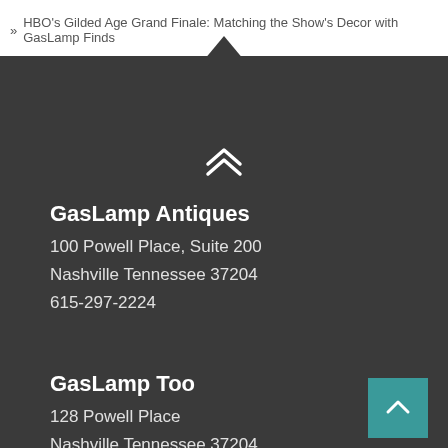» HBO's Gilded Age Grand Finale: Matching the Show's Decor with GasLamp Finds
GasLamp Antiques
100 Powell Place, Suite 200
Nashville Tennessee 37204
615-297-2224
GasLamp Too
128 Powell Place
Nashville Tennessee 37204
615-292-2250